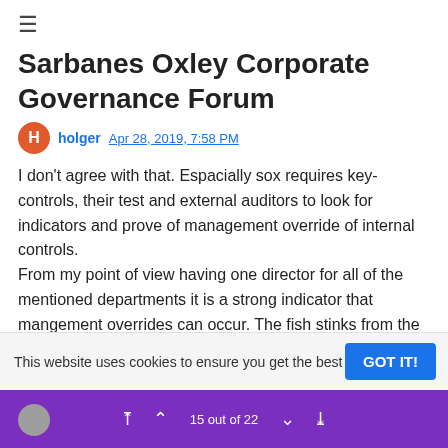≡
Sarbanes Oxley Corporate Governance Forum
holger Apr 28, 2019, 7:58 PM
I don't agree with that. Espacially sox requires key-controls, their test and external auditors to look for indicators and prove of management override of internal controls.
From my point of view having one director for all of the mentioned departments it is a strong indicator that mangement overrides can occur. The fish stinks from the head. I would at least seperate the internal Auditors to a different director.
▲ 0 ▼ ⋮
This website uses cookies to ensure you get the best
GOT IT!